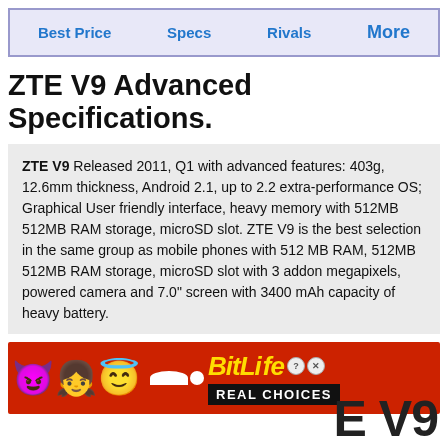Best Price   Specs   Rivals   More
ZTE V9 Advanced Specifications.
ZTE V9 Released 2011, Q1 with advanced features: 403g, 12.6mm thickness, Android 2.1, up to 2.2 extra-performance OS; Graphical User friendly interface, heavy memory with 512MB 512MB RAM storage, microSD slot. ZTE V9 is the best selection in the same group as mobile phones with 512 MB RAM, 512MB 512MB RAM storage, microSD slot with 3 addon megapixels, powered camera and 7.0" screen with 3400 mAh capacity of heavy battery.
[Figure (other): BitLife Real Choices advertisement banner with emoji characters and yellow BitLife logo on red background]
E V9